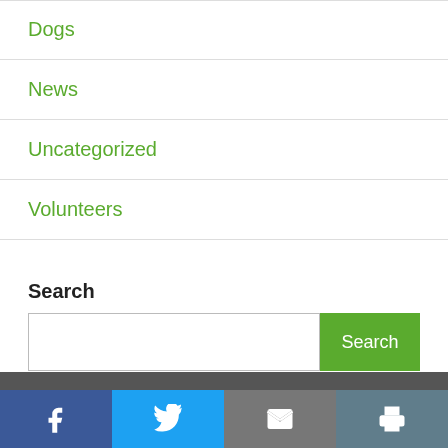Dogs
News
Uncategorized
Volunteers
Search
[Figure (screenshot): Search input box with green Search button]
Social share bar: Facebook, Twitter, Email, Print